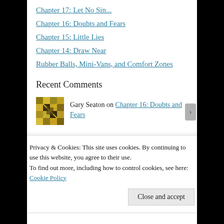Chapter 17: Let No Sin...
Chapter 16: Doubts and Fears
Chapter 15: Little Lies
Chapter 14: Draw Near
Rubber Balls, Mini-Vans, and Comfort Zones
Recent Comments
Gary Seaton on Chapter 16: Doubts and Fears
Privacy & Cookies: This site uses cookies. By continuing to use this website, you agree to their use.
To find out more, including how to control cookies, see here: Cookie Policy
Close and accept